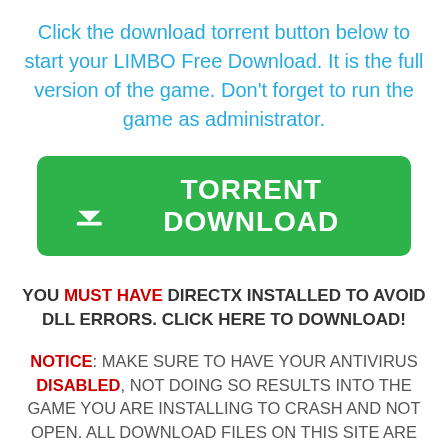Click the download torrent button below to start your LIMBO Free Download. It is the full version of the game. Don't forget to run the game as administrator.
[Figure (other): Green rounded rectangle button with white download arrow icon and text 'TORRENT DOWNLOAD']
YOU MUST HAVE DIRECTX INSTALLED TO AVOID DLL ERRORS. Click Here to download!
NOTICE: MAKE SURE TO HAVE YOUR ANTIVIRUS DISABLED, NOT DOING SO RESULTS INTO THE GAME YOU ARE INSTALLING TO CRASH AND NOT OPEN. ALL DOWNLOAD FILES ON THIS SITE ARE 100% CLEAN, REGARDLESS OF WHAT NORTON, AVG, MCAFEE, ETC...